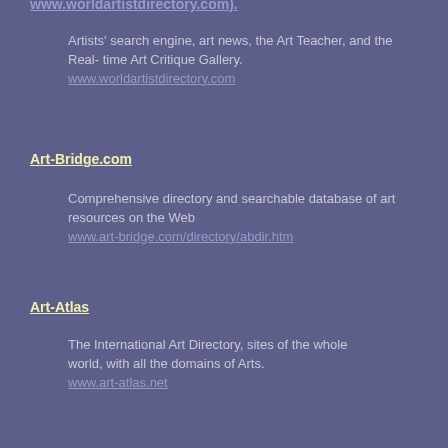www.worldartistdirectory.com (partial)
Artists' search engine, art news, the Art Teacher, and the Real- time Art Critique Gallery.
www.worldartistdirectory.com
Art-Bridge.com
Comprehensive directory and searchable database of art resources on the Web
www.art-bridge.com/directory/abdir.htm
Art-Atlas
The International Art Directory, sites of the whole world, with all the domains of Arts.
www.art-atlas.net